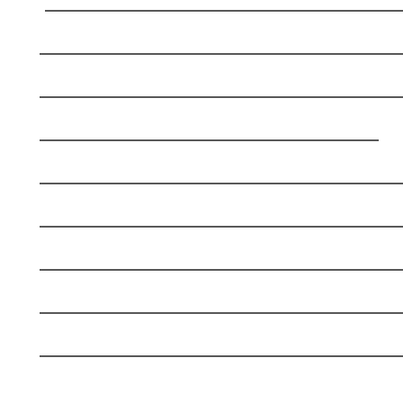[Figure (other): A page showing rows of redacted/placeholder box characters (unicode replacement character boxes with X marks inside), arranged in approximately 10 rows with varying numbers of boxes per row, each row underlined. The boxes appear to be rendering artifacts or placeholder glyphs indicating unrenderable characters.]